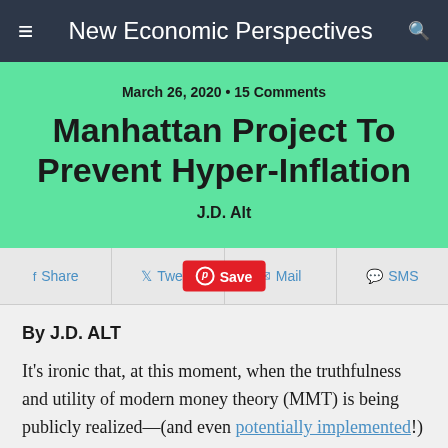New Economic Perspectives
March 26, 2020 • 15 Comments
Manhattan Project To Prevent Hyper-Inflation
J.D. Alt
Share   Tweet   Save   Mail   SMS
By J.D. ALT
It's ironic that, at this moment, when the truthfulness and utility of modern money theory (MMT) is being publicly realized—(and even potentially implemented!)—that its